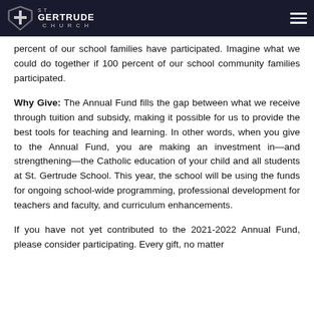St. Gertrude Church
great SGS has raised $52,426 (20... percent of our... goal. That being said, only 13.5... percent of our school families have participated. Imagine what we could do together if 100 percent of our school community families participated.
Why Give: The Annual Fund fills the gap between what we receive through tuition and subsidy, making it possible for us to provide the best tools for teaching and learning. In other words, when you give to the Annual Fund, you are making an investment in—and strengthening—the Catholic education of your child and all students at St. Gertrude School. This year, the school will be using the funds for ongoing school-wide programming, professional development for teachers and faculty, and curriculum enhancements.
If you have not yet contributed to the 2021-2022 Annual Fund, please consider participating. Every gift, no matter...